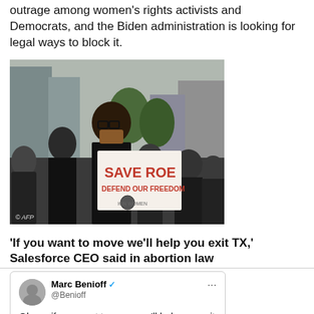outrage among women's rights activists and Democrats, and the Biden administration is looking for legal ways to block it.
[Figure (photo): Protest photo showing people holding a 'SAVE ROE DEFEND OUR FREEDOM' sign, with AFP credit]
'If you want to move we'll help you exit TX,' Salesforce CEO said in abortion law
[Figure (screenshot): Screenshot of tweet by Marc Benioff (@Benioff) with blue verified checkmark, reading: 'Ohana if you want to move we'll help you exit TX. Your choice. [red heart]' with photo of person below]